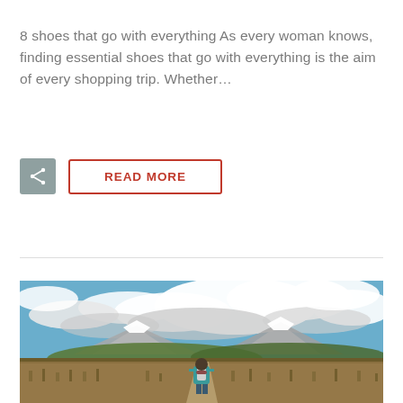8 shoes that go with everything As every woman knows, finding essential shoes that go with everything is the aim of every shopping trip. Whether...
[Figure (other): Share icon button (grey square with share symbol) and READ MORE button with red border]
[Figure (photo): A hiker with a backpack walking on a trail through dry grassland toward snow-capped mountains under a dramatic cloudy blue sky]